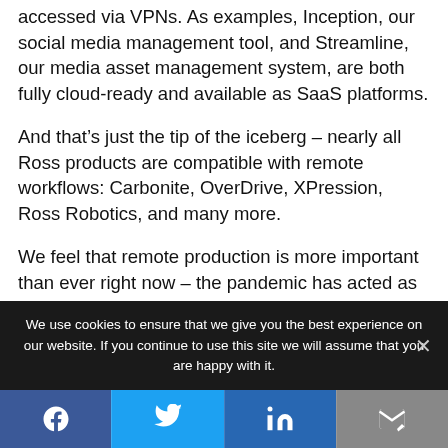accessed via VPNs. As examples, Inception, our social media management tool, and Streamline, our media asset management system, are both fully cloud-ready and available as SaaS platforms.
And that’s just the tip of the iceberg – nearly all Ross products are compatible with remote workflows: Carbonite, OverDrive, XPression, Ross Robotics, and many more.
We feel that remote production is more important than ever right now – the pandemic has acted as a catalyst to drive its adoption throughout the industry
We use cookies to ensure that we give you the best experience on our website. If you continue to use this site we will assume that you are happy with it.
[Figure (other): Social media sharing bar with Facebook, Twitter, LinkedIn, and email/share icons]